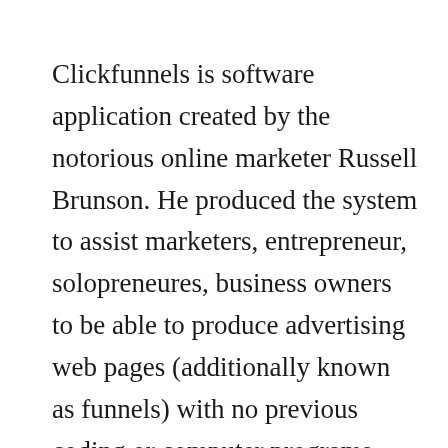Clickfunnels is software application created by the notorious online marketer Russell Brunson. He produced the system to assist marketers, entrepreneur, solopreneures, business owners to be able to produce advertising web pages (additionally known as funnels) with no previous coding or computer programs experience. This eliminates the need to employ costly programmers as well as developers and it can all be done